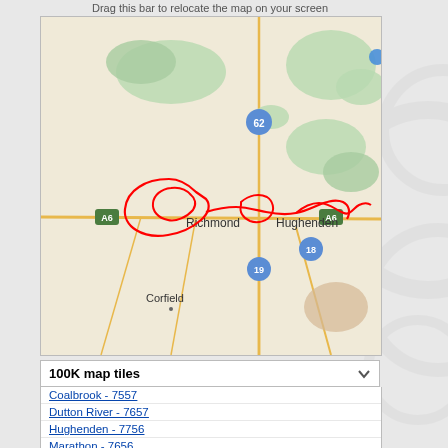Drag this bar to relocate the map on your screen
[Figure (map): Road map showing the area around Richmond and Hughenden in Queensland, Australia. A red GPS track/route is drawn around and between Richmond and Hughenden. Road A6 is visible running east-west, road 62 to the north, road 19 and 18 to the south-east. Green forested areas are visible. Town labels: Richmond, Hughenden, Corfield.]
100K map tiles
Coalbrook - 7557
Dutton River - 7657
Hughenden - 7756
Marathon - 7656
Maxwelton - 7456
Prairie - 7856
Richmond - 7556